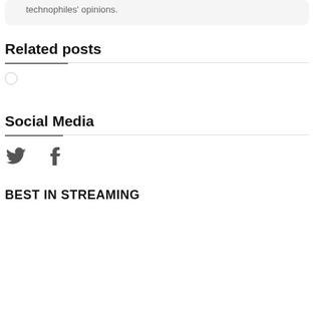technophiles' opinions.
Related posts
Social Media
[Figure (other): Twitter bird icon and Facebook 'f' icon for social media links]
BEST IN STREAMING